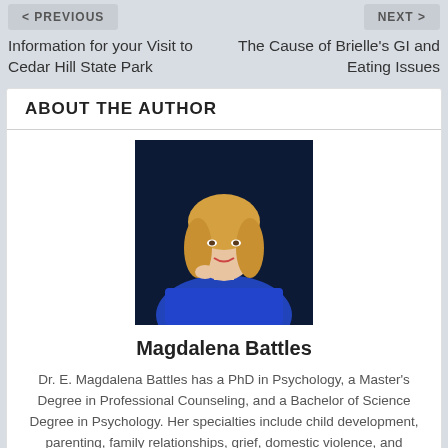< PREVIOUS
NEXT >
Information for your Visit to Cedar Hill State Park
The Cause of Brielle's GI and Eating Issues
ABOUT THE AUTHOR
[Figure (photo): Portrait photo of Magdalena Battles, a blonde woman wearing a blue outfit against a dark background]
Magdalena Battles
Dr. E. Magdalena Battles has a PhD in Psychology, a Master's Degree in Professional Counseling, and a Bachelor of Science Degree in Psychology. Her specialties include child development, parenting, family relationships, grief, domestic violence, and sexual assault. She shares her expertise and real-life experiences on this blog and on www.LifeHack.org. She